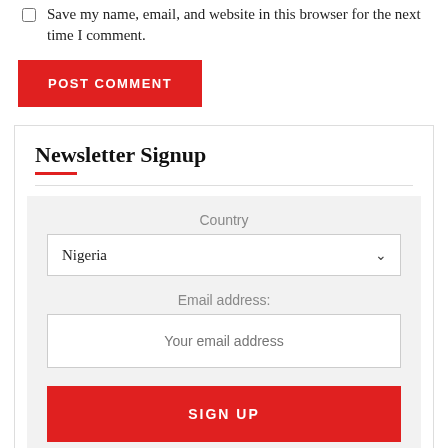Save my name, email, and website in this browser for the next time I comment.
POST COMMENT
Newsletter Signup
Country
Nigeria
Email address:
Your email address
SIGN UP